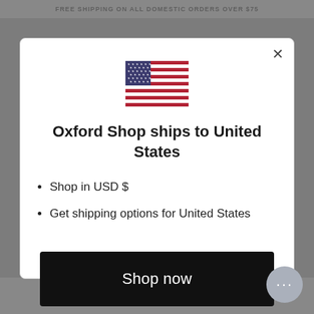FREE SHIPPING ON ALL DOMESTIC ORDERS OVER $75
[Figure (illustration): US flag emoji/icon centered in modal dialog]
Oxford Shop ships to United States
Shop in USD $
Get shipping options for United States
Shop now
Change shipping country